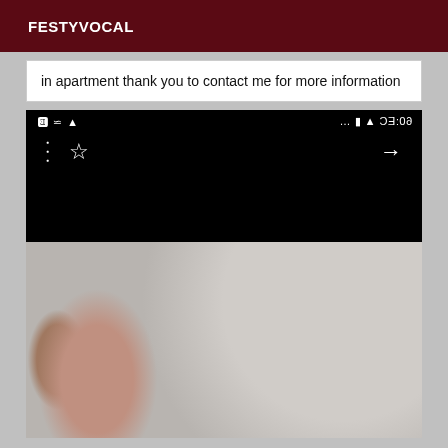FESTYVOCAL
in apartment thank you to contact me for more information
[Figure (screenshot): Screenshot of a mobile phone screen showing a dark/black browser or app screen at 23:09 with navigation icons (menu dots, star/bookmark, forward arrow) visible at the top.]
[Figure (photo): Close-up photo of a person's ear/neck area with short light-colored hair and a pillow or fabric visible in the background.]